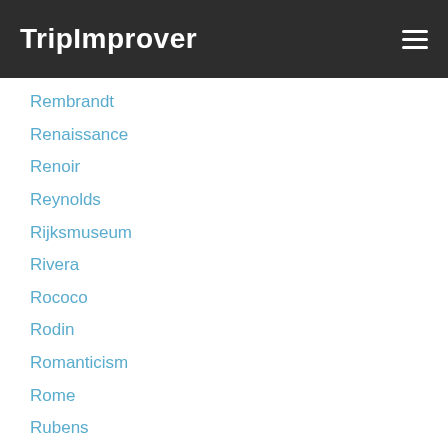TripImprover
Rembrandt
Renaissance
Renoir
Reynolds
Rijksmuseum
Rivera
Rococo
Rodin
Romanticism
Rome
Rubens
Saint Petersburg
San Diego
San Diego Museum Of Art
San Francisco
Seurat
Sferat